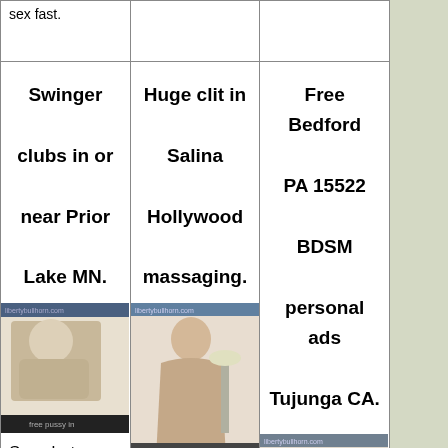sex fast.
Swinger clubs in or near Prior Lake MN.
Huge clit in Salina Hollywood massaging.
Free Bedford PA 15522 BDSM personal ads Tujunga CA.
[Figure (photo): Woman photo placeholder 1]
[Figure (photo): Woman photo placeholder 2]
[Figure (photo): Woman photo placeholder 3]
Sexy hot